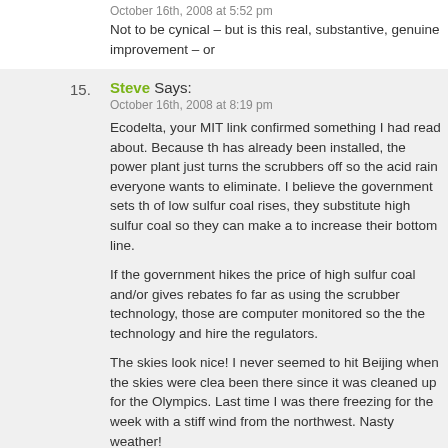October 16th, 2008 at 5:52 pm
Not to be cynical – but is this real, substantive, genuine improvement – or
15. Steve Says:
October 16th, 2008 at 8:19 pm
Ecodelta, your MIT link confirmed something I had read about. Because th has already been installed, the power plant just turns the scrubbers off so the acid rain everyone wants to eliminate. I believe the government sets th of low sulfur coal rises, they substitute high sulfur coal so they can make a to increase their bottom line.

If the government hikes the price of high sulfur coal and/or gives rebates fo far as using the scrubber technology, those are computer monitored so the the technology and hire the regulators.

The skies look nice! I never seemed to hit Beijing when the skies were clea been there since it was cleaned up for the Olympics. Last time I was there freezing for the week with a stiff wind from the northwest. Nasty weather!
16. TonyP4 Says:
October 16th, 2008 at 8:26 pm
In absolute term, solar is #1. I forget hydro and wind ranks, but it seems to barrels on roof tops. I suspect those are hot water tank heated by solar. W

From Wikipedia:

China is the world leading renewable energy producer, with an installed ca